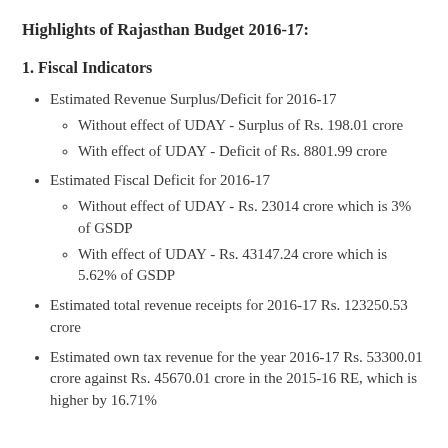Highlights of Rajasthan Budget 2016-17:
1. Fiscal Indicators
Estimated Revenue Surplus/Deficit for 2016-17
Without effect of UDAY - Surplus of Rs. 198.01 crore
With effect of UDAY - Deficit of Rs. 8801.99 crore
Estimated Fiscal Deficit for 2016-17
Without effect of UDAY - Rs. 23014 crore which is 3% of GSDP
With effect of UDAY - Rs. 43147.24 crore which is 5.62% of GSDP
Estimated total revenue receipts for 2016-17 Rs. 123250.53 crore
Estimated own tax revenue for the year 2016-17 Rs. 53300.01 crore against Rs. 45670.01 crore in the 2015-16 RE, which is higher by 16.71%